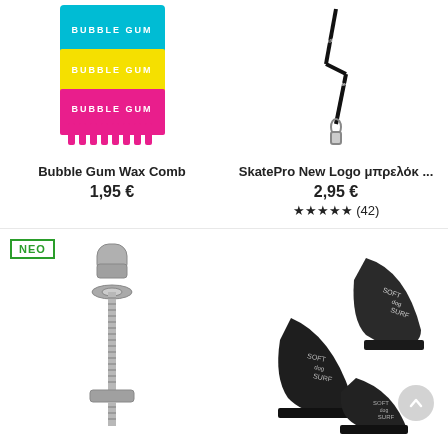[Figure (photo): Colorful Bubble Gum Wax Combs stacked in cyan, yellow, and pink colors]
Bubble Gum Wax Comb
1,95 €
[Figure (photo): SkatePro black lanyard with logo and clip]
SkatePro New Logo μπρελόκ ...
2,95 €
★★★★★ (42)
[Figure (photo): Metal fin screw bolt for surfboard fin]
[Figure (photo): Soft Dog Surf surfboard fins, black, set of three]